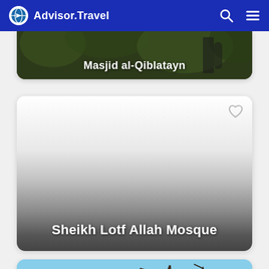Advisor.Travel
[Figure (photo): Partially visible card showing Masjid al-Qiblatayn with dark green foliage background]
Masjid al-Qiblatayn
[Figure (photo): Card for Sheikh Lotf Allah Mosque with gradient from white to dark gray, heart icon in top right]
Sheikh Lotf Allah Mosque
[Figure (photo): Partially visible card at bottom with blue sky and tree branches, heart icon visible]